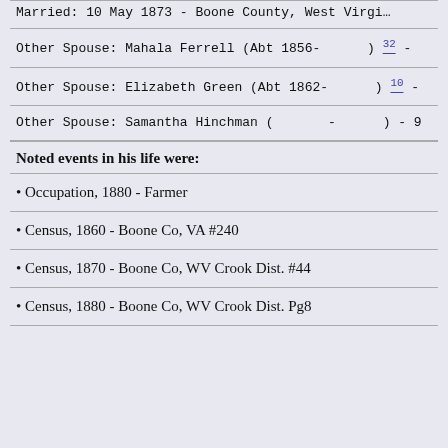Married: 10 May 1873 - Boone County, West Virginia
Other Spouse: Mahala Ferrell (Abt 1856- ) 32 -
Other Spouse: Elizabeth Green (Abt 1862- ) 10 -
Other Spouse: Samantha Hinchman ( - ) - 9
Noted events in his life were:
Occupation, 1880 - Farmer
Census, 1860 - Boone Co, VA #240
Census, 1870 - Boone Co, WV Crook Dist. #44
Census, 1880 - Boone Co, WV Crook Dist. Pg8